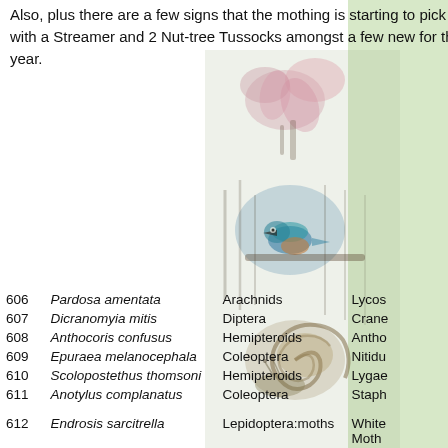Also, plus there are a few signs that the mothing is starting to pick up, with a Streamer and 2 Nut-tree Tussocks amongst a few new for the year.
[Figure (photo): Nature photo strip showing flowers, a kingfisher bird, and a snail shell, overlaid on a light green background panel on the right side]
| # | Species | Order | Family (partial) |
| --- | --- | --- | --- |
| 606 | Pardosa amentata | Arachnids | Lycos |
| 607 | Dicranomyia mitis | Diptera | Crane |
| 608 | Anthocoris confusus | Hemipteroids | Antho |
| 609 | Epuraea melanocephala | Coleoptera | Nitidu |
| 610 | Scolopostethus thomsoni | Hemipteroids | Lygae |
| 611 | Anotylus complanatus | Coleoptera | Staph |
| 612 | Endrosis sarcitrella | Lepidoptera:moths | White Moth |